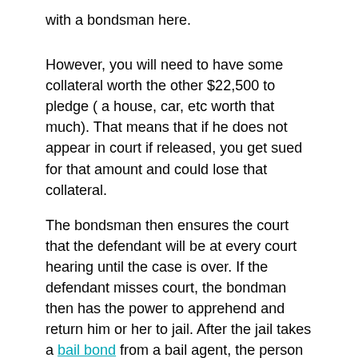with a bondsman here.
However, you will need to have some collateral worth the other $22,500 to pledge ( a house, car, etc worth that much). That means that if he does not appear in court if released, you get sued for that amount and could lose that collateral.
The bondsman then ensures the court that the defendant will be at every court hearing until the case is over. If the defendant misses court, the bondman then has the power to apprehend and return him or her to jail. After the jail takes a bail bond from a bail agent, the person in jail will be booked out and released.
However, unfortunately, if you cannot get a bail bondsman to get him out, or afford that, then he must remain in jail until trial sorry to say.
Please let me know if this has answered your question